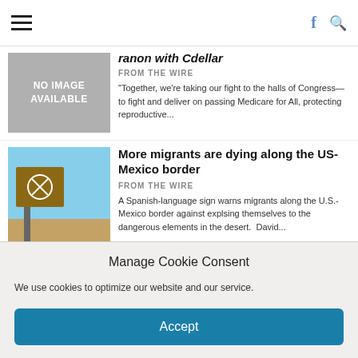Navigation bar with hamburger menu, Facebook icon, and search icon
ranon with Cednar (partially visible, clipped)
FROM THE WIRE
"Together, we're taking our fight to the halls of Congress—to fight and deliver on passing Medicare for All, protecting reproductive...
More migrants are dying along the US-Mexico border
FROM THE WIRE
A Spanish-language sign warns migrants along the U.S.-Mexico border against explsing themselves to the dangerous elements in the desert.  David...
Ukraine conflict brings cybersecurity risks to US homes, businesses
Manage Cookie Consent
We use cookies to optimize our website and our service.
Accept